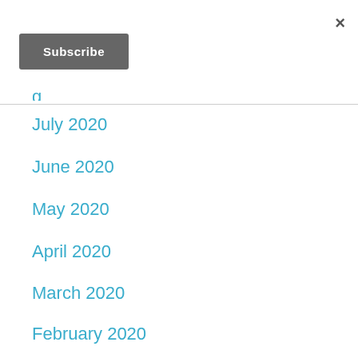×
Subscribe
g… (partial)
July 2020
June 2020
May 2020
April 2020
March 2020
February 2020
January 2020
December 2019 (partial)